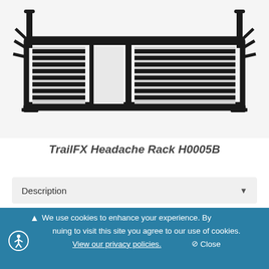[Figure (photo): TrailFX Headache Rack H0005B product photo — a wide black metal truck headache rack with louvered panels on left and right sides, open center window opening, and mounting hardware.]
TrailFX Headache Rack H0005B
Description
Fits Trucks
We use cookies to enhance your experience. By continuing to visit this site you agree to our use of cookies. View our privacy policies. Close